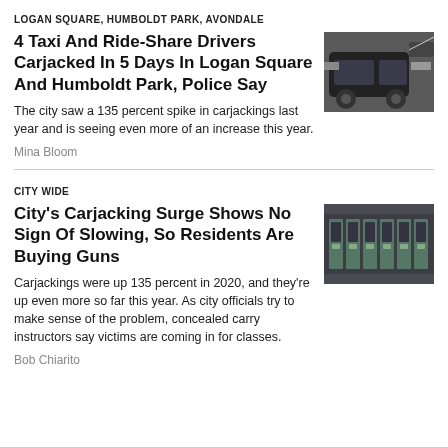LOGAN SQUARE, HUMBOLDT PARK, AVONDALE
4 Taxi And Ride-Share Drivers Carjacked In 5 Days In Logan Square And Humboldt Park, Police Say
The city saw a 135 percent spike in carjackings last year and is seeing even more of an increase this year.
Mina Bloom
[Figure (photo): Dark colored sedan car being carjacked at night]
CITY WIDE
City's Carjacking Surge Shows No Sign Of Slowing, So Residents Are Buying Guns
Carjackings were up 135 percent in 2020, and they're up even more so far this year. As city officials try to make sense of the problem, concealed carry instructors say victims are coming in for classes.
Bob Chiarito
[Figure (photo): Row of slot machines or gun vending machines in a store]